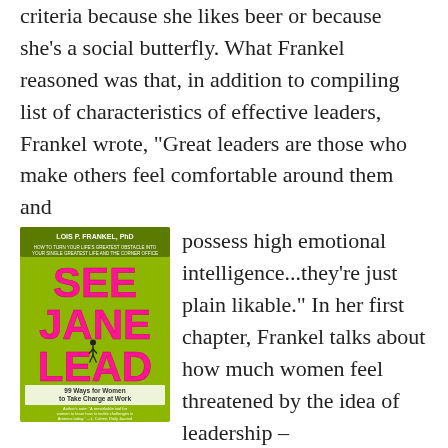criteria because she likes beer or because she's a social butterfly. What Frankel reasoned was that, in addition to compiling list of characteristics of effective leaders, Frankel wrote, "Great leaders are those who make others feel comfortable around them and possess high emotional intelligence...they're just plain likable." In her first chapter, Frankel talks about how much women feel threatened by the idea of leadership – mostly because the feminine way of leading hasn't always been valued in
[Figure (photo): Book cover of 'See Jane Lead: 99 Ways for Women to Take Charge at Work' by Lois P. Frankel, PhD. Green background with large pink/magenta text reading SEE JANE LEAD and a silhouette of a woman walking.]